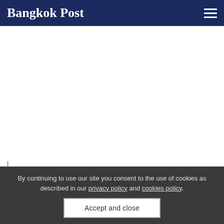Bangkok Post
[Figure (photo): White/empty area representing an advertisement or image placeholder]
Protesters march along Rama IV Road from Samyan intersection to the German embassy on Sathorn Road on Monday. (Photo: Wichan Charoenkiatpakul)
By continuing to use our site you consent to the use of cookies as described in our privacy policy and cookies policy.
Accept and close